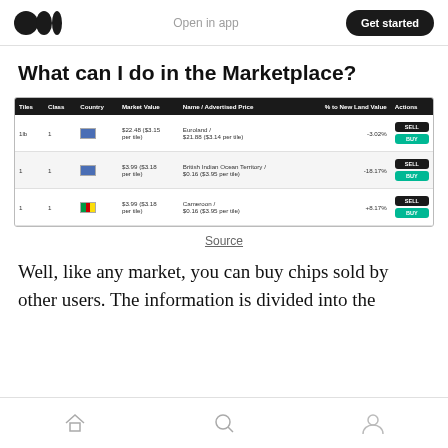Open in app | Get started
What can I do in the Marketplace?
| Tiles | Class | Country | Market Value | Name / Advertised Price | % to New Land Value | Actions |
| --- | --- | --- | --- | --- | --- | --- |
| 1lb | 1 | [flag] | $22.48 ($3.15 per tile) | Euroland / $21.88 ($3.14 per tile) | -3.02% | SELL / BUY |
| 1 | 1 | [flag] | $3.99 ($3.18 per tile) | British Indian Ocean Territory / $0.16 ($3.95 per tile) | -18.17% | SELL / BUY |
| 1 | 1 | [flag] | $3.99 ($3.18 per tile) | Cameroon / $0.16 ($3.95 per tile) | +8.17% | SELL / BUY |
Source
Well, like any market, you can buy chips sold by other users. The information is divided into the
Home | Search | Profile